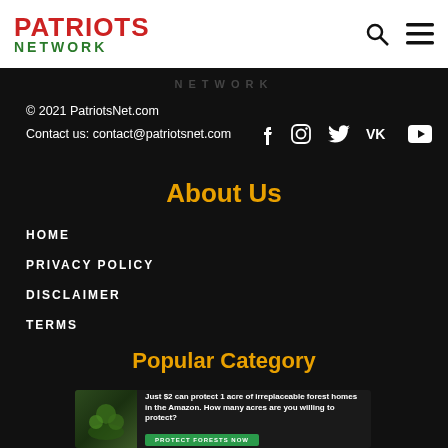PATRIOTS NETWORK
NETWORK
© 2021 PatriotsNet.com
Contact us: contact@patriotsnet.com
About Us
HOME
PRIVACY POLICY
DISCLAIMER
TERMS
Popular Category
[Figure (infographic): Advertisement banner: Just $2 can protect 1 acre of irreplaceable forest homes in the Amazon. How many acres are you willing to protect? PROTECT FORESTS NOW]